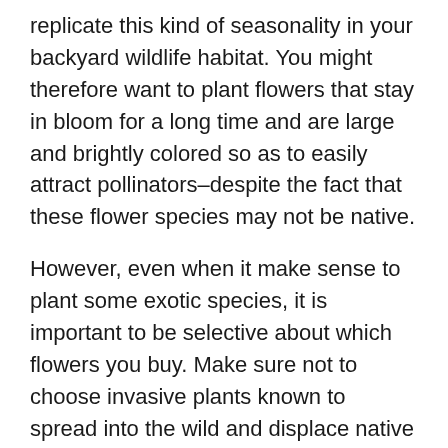replicate this kind of seasonality in your backyard wildlife habitat. You might therefore want to plant flowers that stay in bloom for a long time and are large and brightly colored so as to easily attract pollinators–despite the fact that these flower species may not be native.
However, even when it make sense to plant some exotic species, it is important to be selective about which flowers you buy. Make sure not to choose invasive plants known to spread into the wild and displace native vegetation.
Want to go beyond cultivating wildlife-attracting flower beds? If you have a grass lawn, consider replacing it with something more animal friendly. Conventional lawns are one of least hospital habitats for most animals. Short, neatly trimmed grass may look attractive to us humans, but it provides little space for animals to hide. Most types of